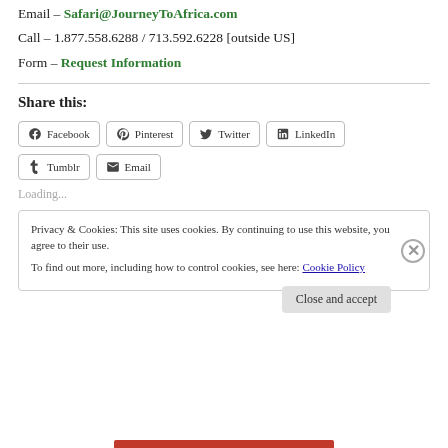Email – Safari@JourneyToAfrica.com
Call – 1.877.558.6288 / 713.592.6228 [outside US]
Form – Request Information
Share this:
Facebook  Pinterest  Twitter  LinkedIn  Tumblr  Email
Loading...
Privacy & Cookies: This site uses cookies. By continuing to use this website, you agree to their use. To find out more, including how to control cookies, see here: Cookie Policy
Close and accept